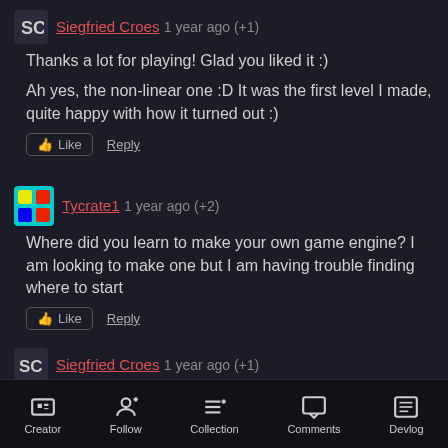Siegfried Croes  1 year ago  (+1)
Thanks a lot for playing! Glad you liked it :)
Ah yes, the non-linear one :D It was the first level I made, quite happy with how it turned out :)
Tycrate1  1 year ago  (+2)
Where did you learn to make your own game engine? I am looking to make one but I am having trouble finding where to start
Siegfried Croes  1 year ago  (+1)
I didn't really learn it anywhere specifically, I've just been programming for over 10 years and then it's not
Creator  Follow  Collection  Comments  Devlog